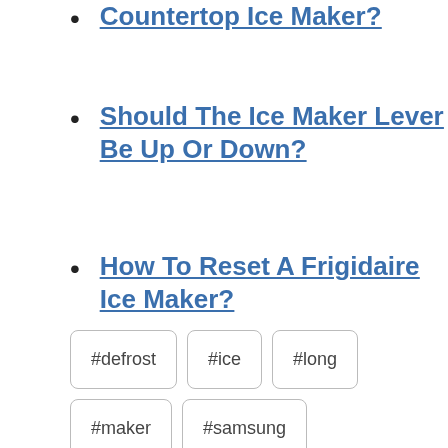Countertop Ice Maker?
Should The Ice Maker Lever Be Up Or Down?
How To Reset A Frigidaire Ice Maker?
#defrost #ice #long #maker #samsung